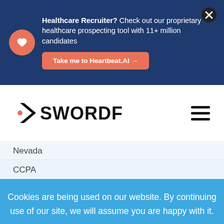[Figure (infographic): Dark blue banner with heart icon, text about Healthcare Recruiter tool and Take me to Heartbeat.AI button]
[Figure (logo): Swordfish logo with orange arrow and bold black SWORDFISH text, hamburger menu icon on the right]
Nevada
CCPA
Cookies are being used on our website. By continuing use of our site, we will assume you are happy with it.
Ok